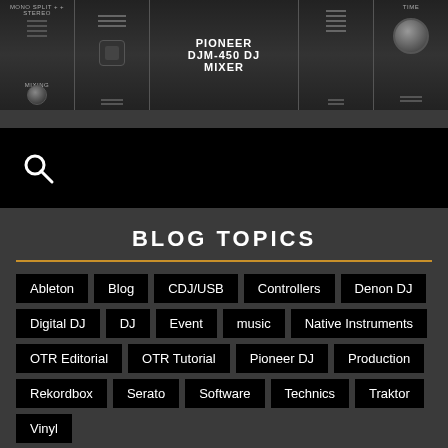[Figure (photo): Pioneer DJM-450 DJ Mixer hardware image showing mixer panels with faders and knobs, with text overlay 'PIONEER DJM-450 DJ MIXER']
PIONEER DJM-450 DJ MIXER
BLOG TOPICS
Ableton
Blog
CDJ/USB
Controllers
Denon DJ
Digital DJ
DJ
Event
music
Native Instruments
OTR Editorial
OTR Tutorial
Pioneer DJ
Production
Rekordbox
Serato
Software
Technics
Traktor
Vinyl